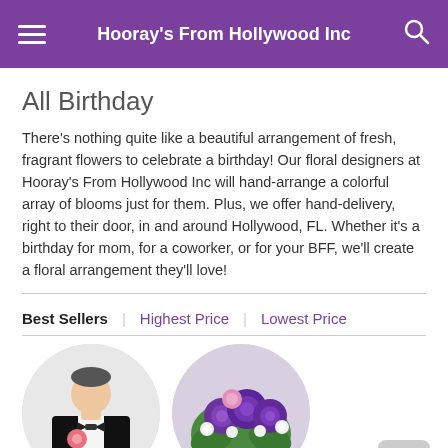Hooray's From Hollywood Inc
All Birthday
There's nothing quite like a beautiful arrangement of fresh, fragrant flowers to celebrate a birthday! Our floral designers at Hooray's From Hollywood Inc will hand-arrange a colorful array of blooms just for them. Plus, we offer hand-delivery, right to their door, in and around Hollywood, FL. Whether it's a birthday for mom, for a coworker, or for your BFF, we'll create a floral arrangement they'll love!
Best Sellers | Highest Price | Lowest Price
[Figure (photo): Person in tuxedo holding a pink flower, shown in a circular thumbnail crop]
[Figure (photo): Purple roses and white filler floral arrangement]